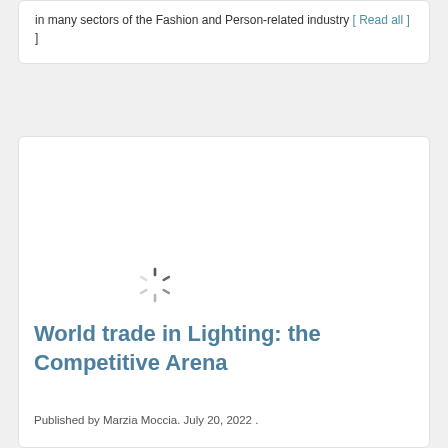in many sectors of the Fashion and Person-related industry [ Read all ]
[Figure (other): Loading spinner icon (circular dashed animation indicator)]
World trade in Lighting: the Competitive Arena
Published by Marzia Moccia. July 20, 2022 .